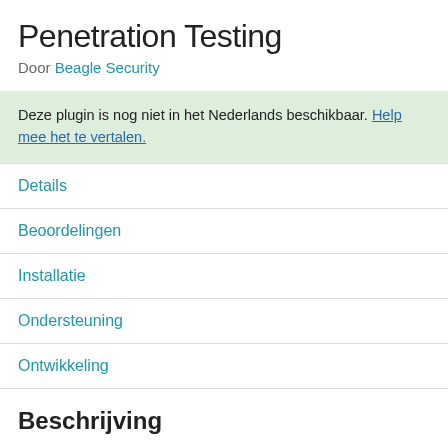Penetration Testing
Door Beagle Security
Deze plugin is nog niet in het Nederlands beschikbaar. Help mee het te vertalen.
Details
Beoordelingen
Installatie
Ondersteuning
Ontwikkeling
Beschrijving
SECURE YOUR WEBSITE FROM THE LATEST